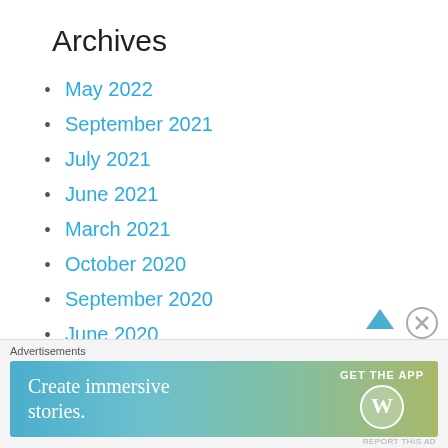Archives
May 2022
September 2021
July 2021
June 2021
March 2021
October 2020
September 2020
June 2020
April 2020
Advertisements
[Figure (infographic): Advertisement banner: 'Create immersive stories. GET THE APP' with WordPress logo, gradient background from blue to green-yellow]